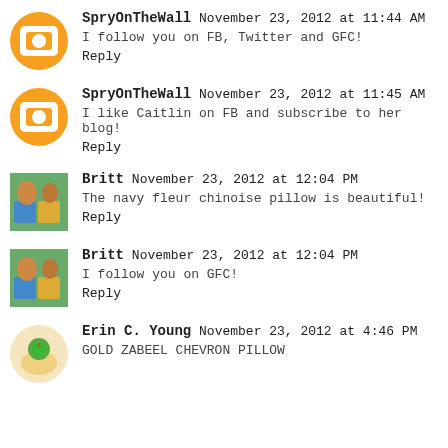SpryOnTheWall November 23, 2012 at 11:44 AM
I follow you on FB, Twitter and GFC!
Reply
SpryOnTheWall November 23, 2012 at 11:45 AM
I like Caitlin on FB and subscribe to her blog!
Reply
Britt November 23, 2012 at 12:04 PM
The navy fleur chinoise pillow is beautiful!
Reply
Britt November 23, 2012 at 12:04 PM
I follow you on GFC!
Reply
Erin C. Young November 23, 2012 at 4:46 PM
GOLD ZABEEL CHEVRON PILLOW